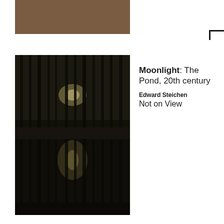[Figure (photo): Brown rectangular abstract shape at top left, appears to be a cropped portion of a dark warm-toned photograph]
[Figure (photo): Black and white photograph titled Moonlight: The Pond by Edward Steichen, 20th century. Shows a dark nocturnal scene with tall bare trees reflected in a still pond, with a faint glow of moonlight visible through the trees.]
Moonlight: The Pond, 20th century
Edward Steichen
Not on View